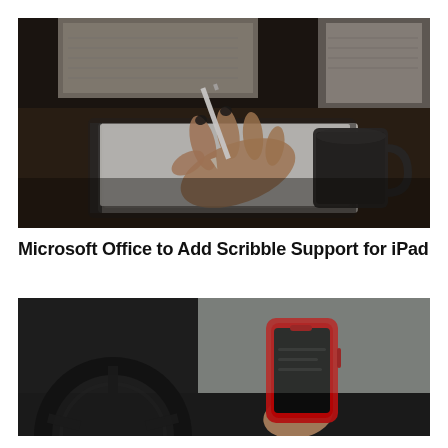[Figure (photo): A person's hand writing with a white stylus/Apple Pencil on an iPad or notebook on a dark desk, with a dark mug and laptop keyboard visible in the background.]
Microsoft Office to Add Scribble Support for iPad
[Figure (photo): A person holding a red smartphone while sitting in a car, with a steering wheel and windshield visible in the background.]